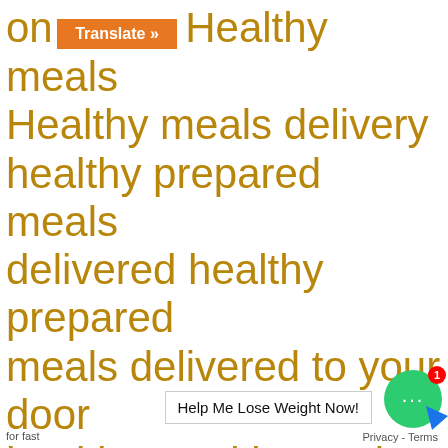on Healthy meals Healthy meals delivery healthy prepared meals delivered healthy prepared meals delivered to your door healthy weekly meal plan with grocery list high carb diet high carb foods to avoid high protein low carb diet plan high protein low carb dinner recipes homemade freezer meals how carbs affect blood sugar how many carbs in a low carb diet how much weight can you lose in 5 weeks how to die for fast
[Figure (screenshot): Orange Translate button overlay]
[Figure (screenshot): Green chat bubble with 1 notification badge and Help Me Lose Weight Now! bar]
Privacy - Terms